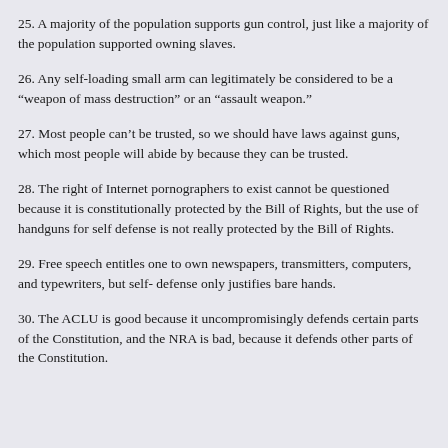25. A majority of the population supports gun control, just like a majority of the population supported owning slaves.
26. Any self-loading small arm can legitimately be considered to be a “weapon of mass destruction” or an “assault weapon.”
27. Most people can’t be trusted, so we should have laws against guns, which most people will abide by because they can be trusted.
28. The right of Internet pornographers to exist cannot be questioned because it is constitutionally protected by the Bill of Rights, but the use of handguns for self defense is not really protected by the Bill of Rights.
29. Free speech entitles one to own newspapers, transmitters, computers, and typewriters, but self- defense only justifies bare hands.
30. The ACLU is good because it uncompromisingly defends certain parts of the Constitution, and the NRA is bad, because it defends other parts of the Constitution.